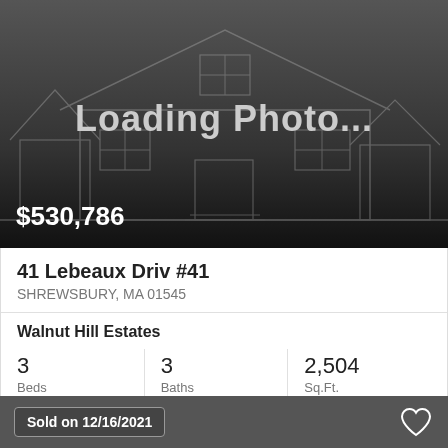[Figure (illustration): Loading Photo placeholder with grey house outline illustration and 'Loading Photo...' text overlay]
$530,786
41 Lebeaux Driv #41
SHREWSBURY, MA 01545
Walnut Hill Estates
3
Beds
3
Baths
2,504
Sq.Ft.
MLS #: 72995845
Sold on 12/16/2021